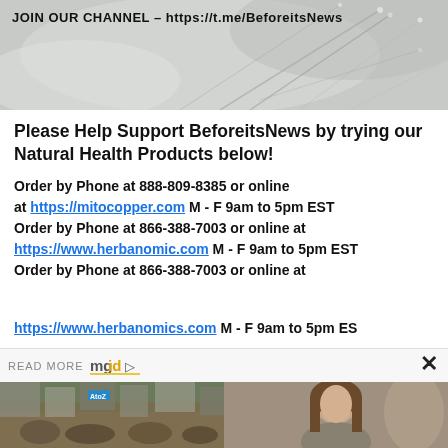[Figure (photo): Dandelion close-up photo with text overlay: JOIN OUR CHANNEL - https://t.me/BeforeitsNews]
Please Help Support BeforeitsNews by trying our Natural Health Products below!
Order by Phone at 888-809-8385 or online at https://mitocopper.com M - F 9am to 5pm EST Order by Phone at 866-388-7003 or online at https://www.herbanomic.com M - F 9am to 5pm EST Order by Phone at 866-388-7003 or online at https://www.herbanomics.com M - F 9am to 5pm EST
[Figure (infographic): READ MORE mgid logo with play icon and close X button - advertisement widget]
[Figure (photo): Crowded street scene with shops and signs]
[Figure (photo): Portrait of a woman with brown hair wearing a choker necklace]